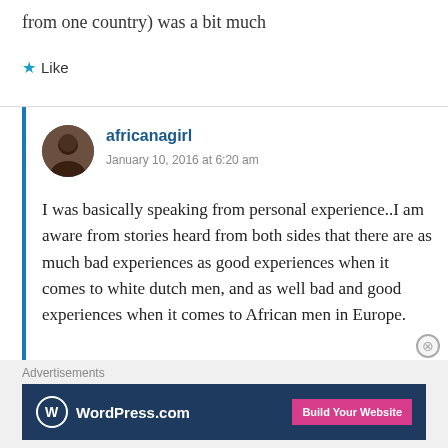from one country) was a bit much
★ Like
africanagirl
January 10, 2016 at 6:20 am
I was basically speaking from personal experience..I am aware from stories heard from both sides that there are as much bad experiences as good experiences when it comes to white dutch men, and as well bad and good experiences when it comes to African men in Europe.
Advertisements
[Figure (logo): WordPress.com advertisement banner with logo and Build Your Website button]